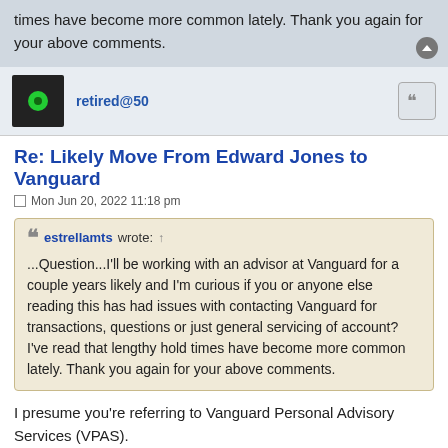times have become more common lately. Thank you again for your above comments.
retired@50
Re: Likely Move From Edward Jones to Vanguard
Mon Jun 20, 2022 11:18 pm
estrellamts wrote: ↑
...Question...I'll be working with an advisor at Vanguard for a couple years likely and I'm curious if you or anyone else reading this has had issues with contacting Vanguard for transactions, questions or just general servicing of account? I've read that lengthy hold times have become more common lately. Thank you again for your above comments.
I presume you're referring to Vanguard Personal Advisory Services (VPAS).
If you invest at least $50,000 you have access to an adviser. (I suspect this is a "team" approach)
If you invest at least $500,000 you will have a dedicated adviser. (I